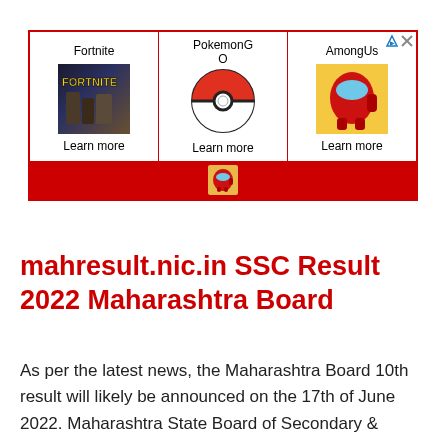[Figure (screenshot): Advertisement banner with three game tiles: Fortnite, PokemonGO, and AmongUs, each with a game image and 'Learn more' link. Red border and bottom bar with a small AmongUs icon.]
mahresult.nic.in SSC Result 2022 Maharashtra Board
As per the latest news, the Maharashtra Board 10th result will likely be announced on the 17th of June 2022. Maharashtra State Board of Secondary &